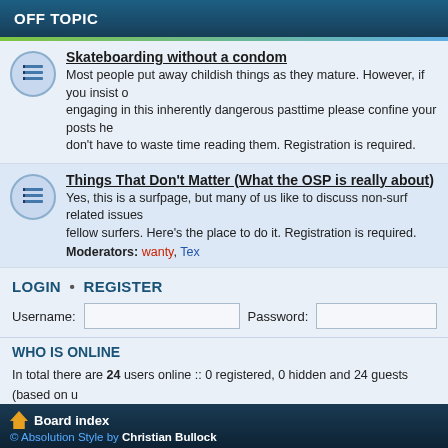OFF TOPIC
Skateboarding without a condom
Most people put away childish things as they mature. However, if you insist on engaging in this inherently dangerous pasttime please confine your posts he... don't have to waste time reading them. Registration is required.
Things That Don't Matter (What the OSP is really about)
Yes, this is a surfpage, but many of us like to discuss non-surf related issues... fellow surfers. Here's the place to do it. Registration is required.
Moderators: wanty, Tex
LOGIN • REGISTER
Username:    Password:
WHO IS ONLINE
In total there are 24 users online :: 0 registered, 0 hidden and 24 guests (based on u...
Most users ever online was 221 on Sat Jul 14, 2007 9:24 am
Registered users: No registered users
Legend: Administrators, Global moderators
STATISTICS
Total posts 27320 • Total topics 1061 • Total members 4926 • Our newest member tr...
Board index
© Absolution Style by Christian Bullock